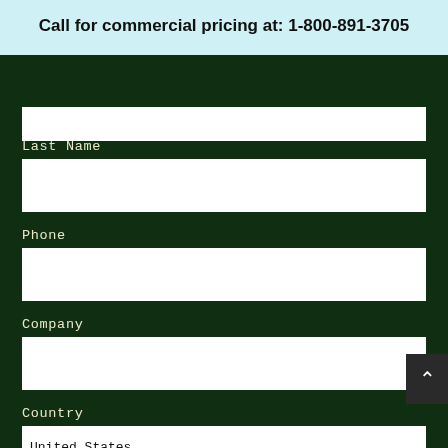Call for commercial pricing at: 1-800-891-3705
Last Name
Phone
Company
Country
United States